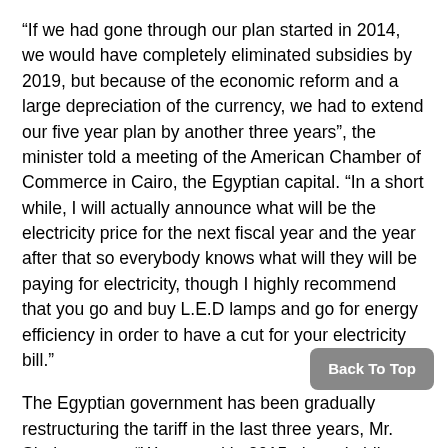“If we had gone through our plan started in 2014, we would have completely eliminated subsidies by 2019, but because of the economic reform and a large depreciation of the currency, we had to extend our five year plan by another three years”, the minister told a meeting of the American Chamber of Commerce in Cairo, the Egyptian capital. “In a short while, I will actually announce what will be the electricity price for the next fiscal year and the year after that so everybody knows what will they will be paying for electricity, though I highly recommend that you go and buy L.E.D lamps and go for energy efficiency in order to have a cut for your electricity bill.”
The Egyptian government has been gradually restructuring the tariff in the last three years, Mr. Shaker notes. “We started in 2015, the subsidies rose at that time to 27.3Billion Egyptian Pounds and this was going down if we went through our plan by the year 2018-2019 we will be reaching actually a point where we don’t have any subsidies but because of the economic change (forex deregulation) this jumped from 12.8 to 62.4Billion Egyptian pounds, which was the subsidy last year (2017).
The subsidy this fiscal year is 52.74Billion Egyptian pounds. We are trying to follow the step that by 2021 we will be completely eliminating